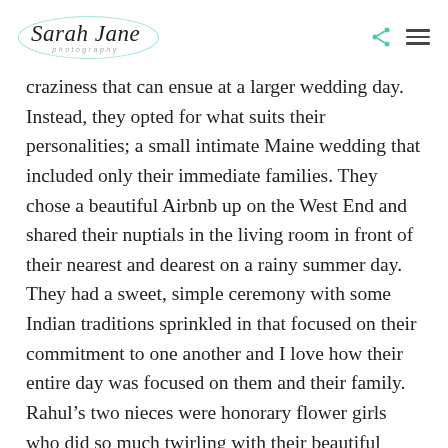Sarah Jane photography
craziness that can ensue at a larger wedding day. Instead, they opted for what suits their personalities; a small intimate Maine wedding that included only their immediate families. They chose a beautiful Airbnb up on the West End and shared their nuptials in the living room in front of their nearest and dearest on a rainy summer day. They had a sweet, simple ceremony with some Indian traditions sprinkled in that focused on their commitment to one another and I love how their entire day was focused on them and their family. Rahul’s two nieces were honorary flower girls who did so much twirling with their beautiful deep blue Indian dresses.